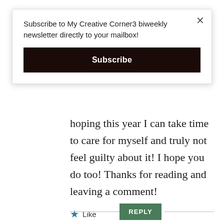Subscribe to My Creative Corner3 biweekly newsletter directly to your mailbox!
Subscribe
hoping this year I can take time to care for myself and truly not feel guilty about it! I hope you do too! Thanks for reading and leaving a comment!
★ Like
REPLY